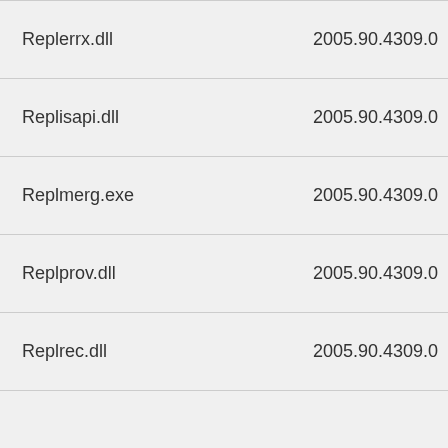| File | Version |
| --- | --- |
| Replerrx.dll | 2005.90.4309.0 |
| Replisapi.dll | 2005.90.4309.0 |
| Replmerg.exe | 2005.90.4309.0 |
| Replprov.dll | 2005.90.4309.0 |
| Replrec.dll | 2005.90.4309.0 |